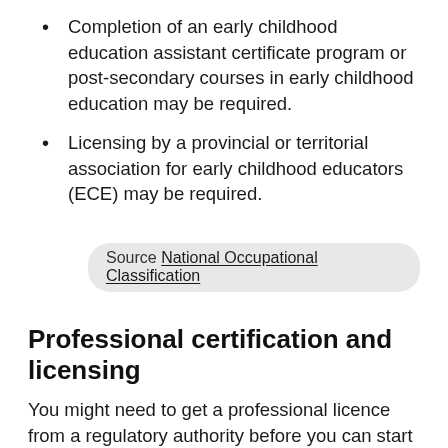Completion of an early childhood education assistant certificate program or post-secondary courses in early childhood education may be required.
Licensing by a provincial or territorial association for early childhood educators (ECE) may be required.
Source National Occupational Classification
Professional certification and licensing
You might need to get a professional licence from a regulatory authority before you can start working. Licensing can be compulsory or voluntary, depending on the occupation.
If the licence is compulsory, you must be certified before you can practise the occupation and use the professional designation.